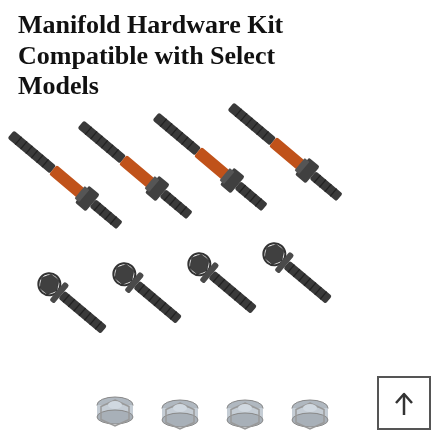Manifold Hardware Kit Compatible with Select Models
[Figure (photo): Product photo showing a manifold hardware kit consisting of four long studs with orange-coated middle sections and flanged hex nuts on one end (top row), four shorter flanged hex bolts (middle row), and four silver flanged nuts (bottom row), all arranged diagonally on a white background.]